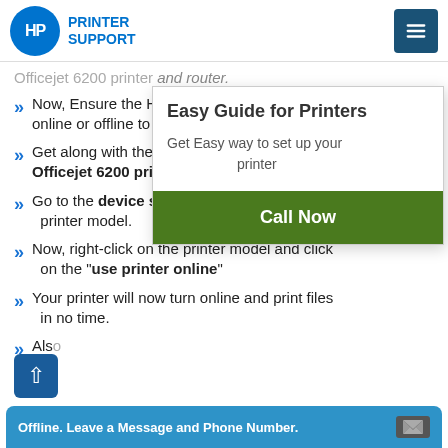HP PRINTER SUPPORT
Officejet 6200 printer and router.
Now, Ensure the HP Officejet 6200 printer is online or offline to continue.
Get along with the further steps to fix the Officejet 6200 printer online error.
Go to the device settings menu and tap on the printer model.
Now, right-click on the printer model and click on the "use printer online"
Your printer will now turn online and print files in no time.
Also
[Figure (infographic): Popup widget with title 'Easy Guide for Printers', subtitle 'Get Easy way to set up your printer', and a green 'Call Now' button]
Offline. Leave a Message and Phone Number.